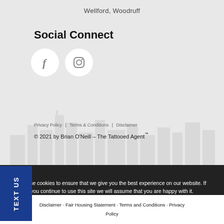Wellford, Woodruff
Social Connect
[Figure (illustration): Two circular white social media icons: Facebook (f) and Instagram (camera outline), with a faint cityscape background]
Privacy Policy | Terms & Conditions | Disclaimer
© 2021 by Brian O'Neill – The Tattooed Agent℠
TEXT US
We use cookies to ensure that we give you the best experience on our website. If you continue to use this site we will assume that you are happy with it.
Disclaimer · Fair Housing Statement · Terms and Conditions · Privacy Policy